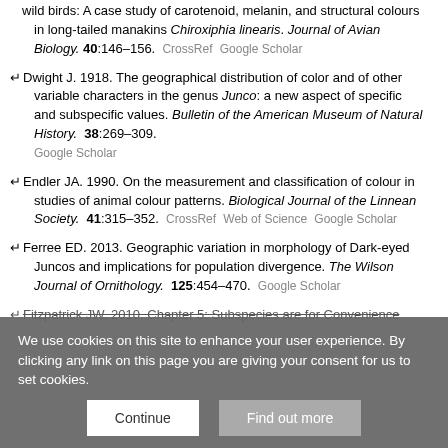wild birds: A case study of carotenoid, melanin, and structural colours in long-tailed manakins Chiroxiphia linearis. Journal of Avian Biology. 40:146–156. CrossRef Google Scholar
Dwight J. 1918. The geographical distribution of color and of other variable characters in the genus Junco: a new aspect of specific and subspecific values. Bulletin of the American Museum of Natural History. 38:269–309. Google Scholar
Endler JA. 1990. On the measurement and classification of colour in studies of animal colour patterns. Biological Journal of the Linnean Society. 41:315–352. CrossRef Web of Science Google Scholar
Ferree ED. 2013. Geographic variation in morphology of Dark-eyed Juncos and implications for population divergence. The Wilson Journal of Ornithology. 125:454–470. Google Scholar
Fitzpatrick JW. 2010. Chapter 5: Subspecies are for Convenience...
We use cookies on this site to enhance your user experience. By clicking any link on this page you are giving your consent for us to set cookies.